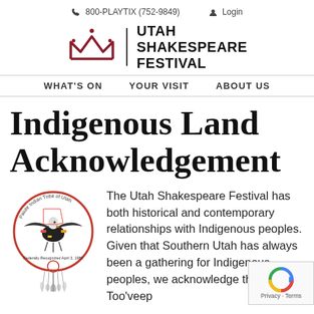800-PLAYTIX (752-9849)   Login
[Figure (logo): Utah Shakespeare Festival logo: crown icon and bold text 'UTAH SHAKESPEARE FESTIVAL']
WHAT'S ON   YOUR VISIT   ABOUT US
Indigenous Land Acknowledgement
[Figure (logo): Paiute Indian Tribe of Utah circular seal featuring an eagle, dreamcatcher feathers, and text 'Federally Recognized April 3, 1980']
The Utah Shakespeare Festival has both historical and contemporary relationships with Indigenous peoples. Given that Southern Utah has always been a gathering for Indigenous peoples, we acknowledge that this Too'veep